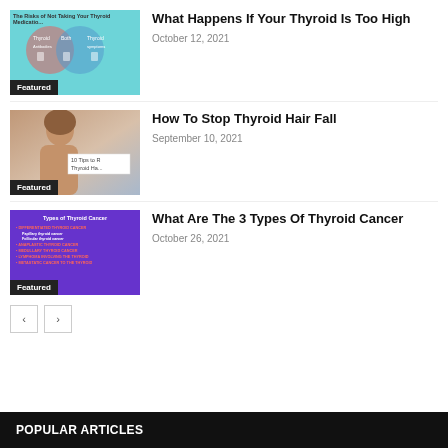[Figure (infographic): Teal infographic thumbnail about risks of not taking thyroid medication, with two overlapping circles (Venn diagram style) and icons. Badge: Featured.]
What Happens If Your Thyroid Is Too High
October 12, 2021
[Figure (photo): Photo of a woman with blonde hair smiling, with an overlay card reading '10 Tips to R... Thyroid Ha...'. Badge: Featured.]
How To Stop Thyroid Hair Fall
September 10, 2021
[Figure (infographic): Purple slide thumbnail listing Types of Thyroid Cancer including Differentiated Thyroid Cancer, Anaplastic Thyroid Cancer, Medullary Thyroid Cancer, Lymphoma Involving the Thyroid, Metastatic Cancer to the Thyroid. Badge: Featured.]
What Are The 3 Types Of Thyroid Cancer
October 26, 2021
POPULAR ARTICLES